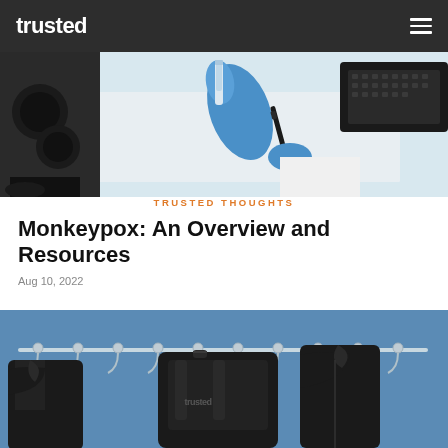trusted
[Figure (photo): Close-up photo of a blue-gloved hand holding a medical vial/tube over white paper, with a microscope on the left and a keyboard on the right, on a white surface.]
TRUSTED THOUGHTS
Monkeypox: An Overview and Resources
Aug 10, 2022
[Figure (photo): Photo of dark brown/black coats and a backpack with 'trusted' logo hanging on chrome hooks against a blue wall.]